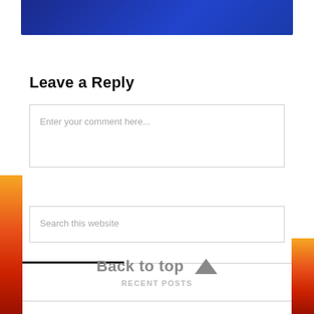[Figure (illustration): Blue gradient banner at the top of the page with decorative elements]
Leave a Reply
Enter your comment here...
Search this website
RECENT POSTS
Back to top ▲